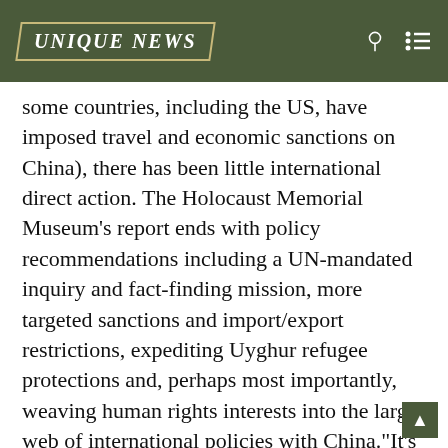UNIQUE NEWS
some countries, including the US, have imposed travel and economic sanctions on China), there has been little international direct action. The Holocaust Memorial Museum’s report ends with policy recommendations including a UN-mandated inquiry and fact-finding mission, more targeted sanctions and import/export restrictions, expediting Uyghur refugee protections and, perhaps most importantly, weaving human rights interests into the larger web of international policies with China.“It’s heartbreaking that we have to make arguments for human rights,” said Kikoler. “In the context of the Holocaust, we now in hindsight know there were many warning signs that went unheaded. That’s also happening now.” She said she hopes